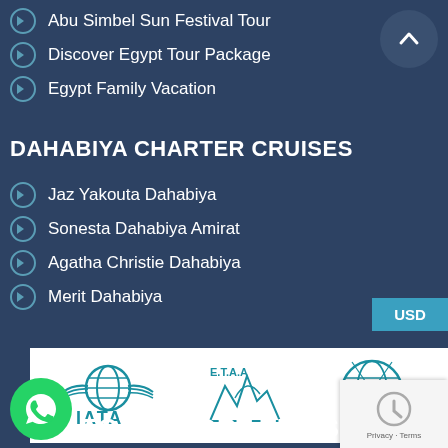Abu Simbel Sun Festival Tour
Discover Egypt Tour Package
Egypt Family Vacation
DAHABIYA CHARTER CRUISES
Jaz Yakouta Dahabiya
Sonesta Dahabiya Amirat
Agatha Christie Dahabiya
Merit Dahabiya
[Figure (logo): IATA, E.T.A.A, and ASTA logos on white background]
EGYPT PORT TRIPS